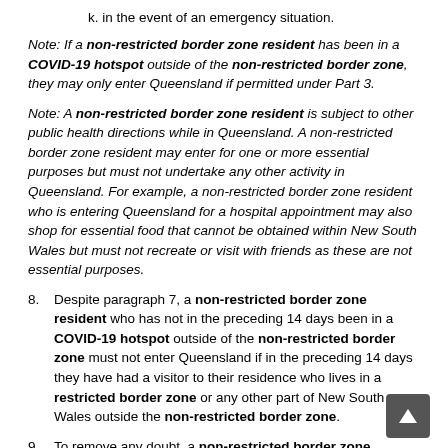k. in the event of an emergency situation.
Note: If a non-restricted border zone resident has been in a COVID-19 hotspot outside of the non-restricted border zone, they may only enter Queensland if permitted under Part 3.
Note: A non-restricted border zone resident is subject to other public health directions while in Queensland. A non-restricted border zone resident may enter for one or more essential purposes but must not undertake any other activity in Queensland. For example, a non-restricted border zone resident who is entering Queensland for a hospital appointment may also shop for essential food that cannot be obtained within New South Wales but must not recreate or visit with friends as these are not essential purposes.
8. Despite paragraph 7, a non-restricted border zone resident who has not in the preceding 14 days been in a COVID-19 hotspot outside of the non-restricted border zone must not enter Queensland if in the preceding 14 days they have had a visitor to their residence who lives in a restricted border zone or any other part of New South Wales outside the non-restricted border zone.
9. To remove any doubt, a non-restricted border zone resident mentioned in paragraph 7 must not enter Queensland for the following reasons: